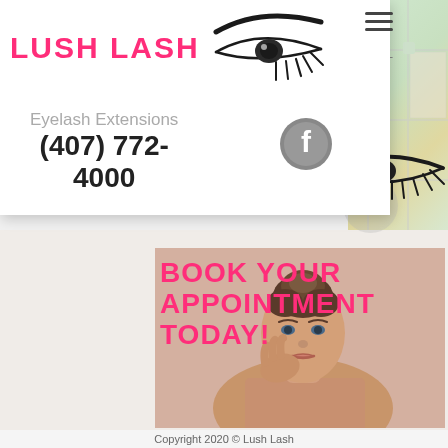[Figure (screenshot): Lush Lash beauty salon website screenshot showing logo with eyelash graphic, contact info, Facebook icon, map, and booking section with woman's photo]
LUSH LASH
Eyelash Extensions
(407) 772-4000
Deltona, FL
BOOK YOUR APPOINTMENT TODAY!
Copyright 2020 © Lush Lash